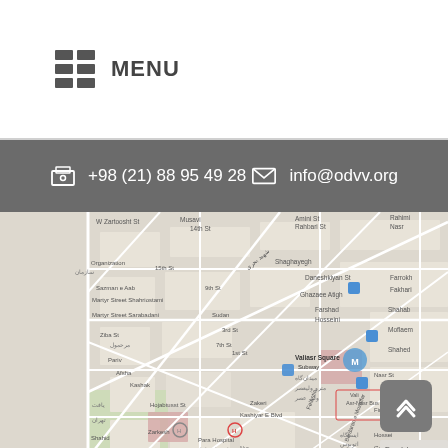MENU
+98 (21) 88 95 49 28  |  info@odvv.org
[Figure (map): Street map of Tehran showing Valiasr Square area with street names in English and Farsi, including Para Hospital, subway stations, and surrounding streets.]